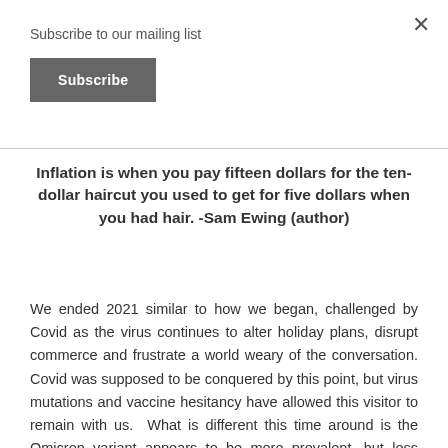Subscribe to our mailing list
Subscribe
Inflation is when you pay fifteen dollars for the ten-dollar haircut you used to get for five dollars when you had hair. -Sam Ewing (author)
We ended 2021 similar to how we began, challenged by Covid as the virus continues to alter holiday plans, disrupt commerce and frustrate a world weary of the conversation. Covid was supposed to be conquered by this point, but virus mutations and vaccine hesitancy have allowed this visitor to remain with us. What is different this time around is the Omicron variant appears to be more prevalent, but less deadly. Hospitalization risk appears to be 1/3[3] that of the Delta variant but, given that Omicron is more infectious